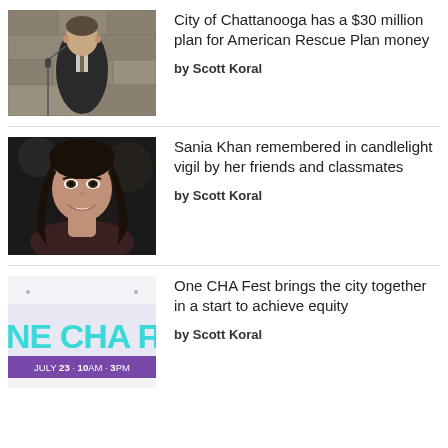[Figure (photo): Man in suit speaking at a microphone outdoors]
City of Chattanooga has a $30 million plan for American Rescue Plan money
by Scott Koral
[Figure (photo): Young woman with long dark hair smiling]
Sania Khan remembered in candlelight vigil by her friends and classmates
by Scott Koral
[Figure (photo): One CHA Fest event banner: JULY 23 + 10AM-3PM]
One CHA Fest brings the city together in a start to achieve equity
by Scott Koral